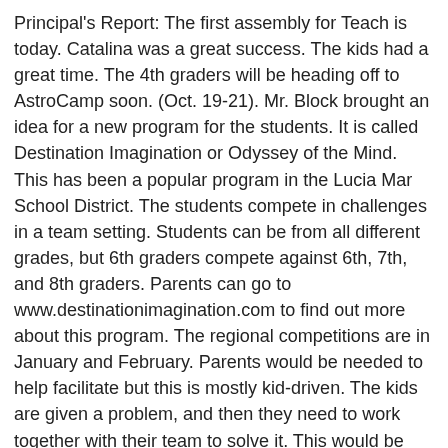Principal's Report: The first assembly for Teach is today. Catalina was a great success. The kids had a great time. The 4th graders will be heading off to AstroCamp soon. (Oct. 19-21). Mr. Block brought an idea for a new program for the students. It is called Destination Imagination or Odyssey of the Mind. This has been a popular program in the Lucia Mar School District. The students compete in challenges in a team setting. Students can be from all different grades, but 6th graders compete against 6th, 7th, and 8th graders. Parents can go to www.destinationimagination.com to find out more about this program. The regional competitions are in January and February. Parents would be needed to help facilitate but this is mostly kid-driven. The kids are given a problem, and then they need to work together with their team to solve it. This would be something that would be done in the after school hours. Teams are usually 6-7 participants each. The cost is $130 per team, or $390 for five teams. Mr. Block will have a representative come to talk to parents about the program. More information will follow regarding that presentation.
Class Representatives: Nara and Riana are the 5th grade